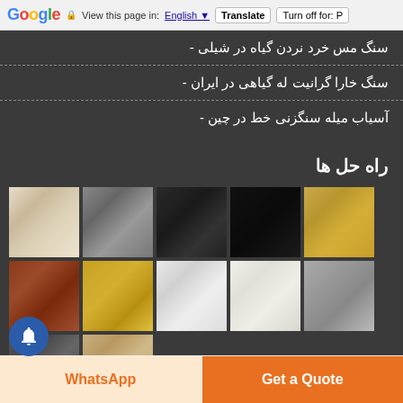Google | View this page in: English | Translate | Turn off for: P
سنگ مس خرد نردن گیاه در شیلی -
سنگ خارا گرانیت له گیاهی در ایران -
آسیاب میله سنگزنی خط در چین -
راه حل ها
[Figure (photo): Grid of 12 stone/mineral texture photos: marble, gray rock, coal, black stone, gold ore, red brick, gold nuggets, white marble, white chalky stone, gray gravel, dark gravel, sand]
WhatsApp | Get a Quote